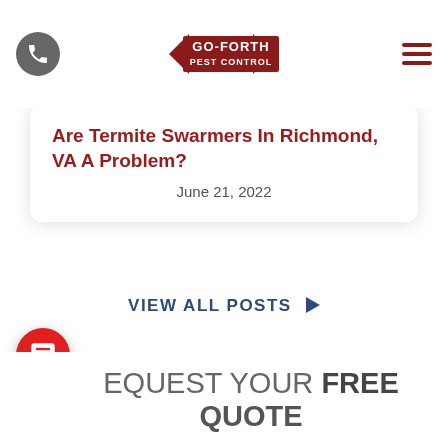Go-Forth Pest Control navigation header
Are Termite Swarmers In Richmond, VA A Problem?
June 21, 2022
VIEW ALL POSTS ▶
[Figure (logo): reCAPTCHA widget with Privacy and Terms text]
REQUEST YOUR FREE QUOTE